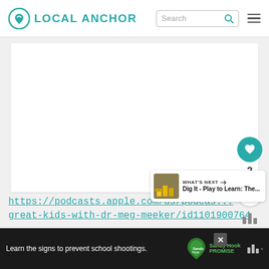LOCAL ANCHOR
[Figure (screenshot): White card content area placeholder]
https://podcasts.apple.com/us/podcas... great-kids-with-dr-meg-meeker/id1101900764
[Figure (infographic): What's Next panel with thumbnail showing Dig It - Play to Learn: The...]
[Figure (infographic): Advertisement banner: Learn the signs to prevent school shootings. Sandy Hook Promise logo.]